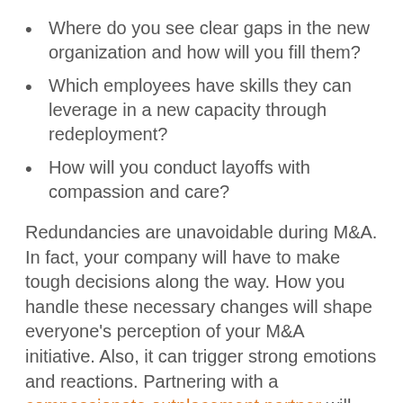Where do you see clear gaps in the new organization and how will you fill them?
Which employees have skills they can leverage in a new capacity through redeployment?
How will you conduct layoffs with compassion and care?
Redundancies are unavoidable during M&A. In fact, your company will have to make tough decisions along the way. How you handle these necessary changes will shape everyone’s perception of your M&A initiative. Also, it can trigger strong emotions and reactions. Partnering with a compassionate outplacement partner will provide you with the guidance, expertise, and resources you need to handle sensitive layoffs and redeployments that, in the end, benefit everyone involved.